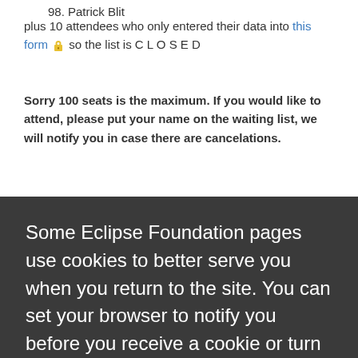98. Patrick Blit
plus 10 attendees who only entered their data into this form 🔒 so the list is C L O S E D
Sorry 100 seats is the maximum. If you would like to attend, please put your name on the waiting list, we will notify you in case there are cancelations.
Some Eclipse Foundation pages use cookies to better serve you when you return to the site. You can set your browser to notify you before you receive a cookie or turn off cookies. If you do so, however, some areas of some sites may not function properly. To read Eclipse Foundation Privacy Policy click here.